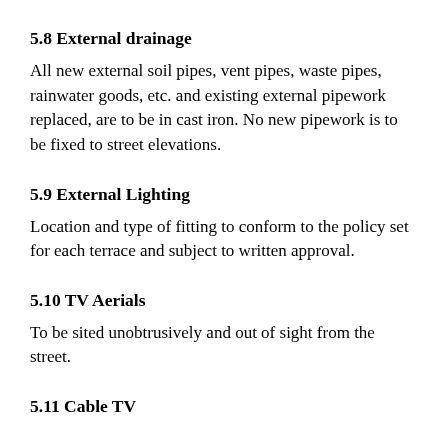5.8 External drainage
All new external soil pipes, vent pipes, waste pipes, rainwater goods, etc. and existing external pipework replaced, are to be in cast iron. No new pipework is to be fixed to street elevations.
5.9 External Lighting
Location and type of fitting to conform to the policy set for each terrace and subject to written approval.
5.10 TV Aerials
To be sited unobtrusively and out of sight from the street.
5.11 Cable TV